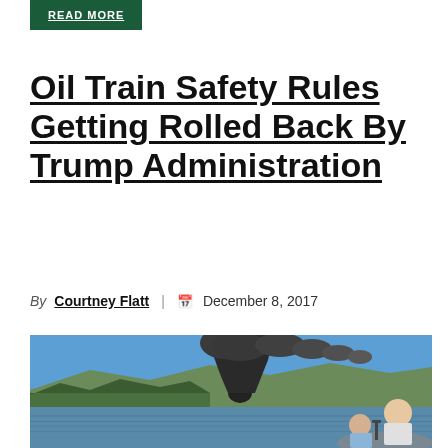READ MORE
Oil Train Safety Rules Getting Rolled Back By Trump Administration
By Courtney Flatt | December 8, 2017
[Figure (photo): Two people on a motorboat on a river looking at a large black smoke plume rising from a fire on the opposite wooded hillside, with mountains and blue sky in the background.]